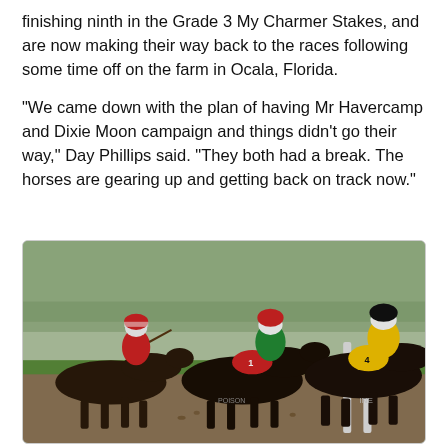finishing ninth in the Grade 3 My Charmer Stakes, and are now making their way back to the races following some time off on the farm in Ocala, Florida.
“We came down with the plan of having Mr Havercamp and Dixie Moon campaign and things didn’t go their way,” Day Phillips said. “They both had a break. The horses are gearing up and getting back on track now.”
[Figure (photo): Horse race photo showing three horses and jockeys racing on a turf track. Left jockey wears red and white silks, center jockey wears green and red silks with number 1, right jockey wears yellow and black silks with number 4.]